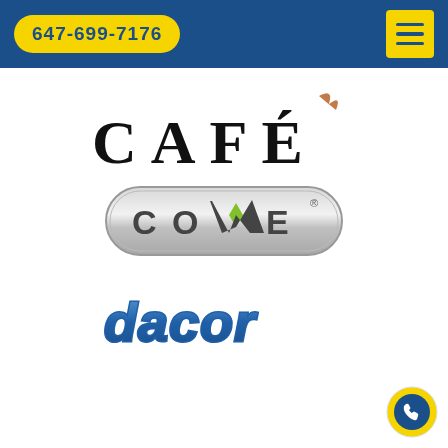647-699-7176
[Figure (logo): CAFE appliances brand logo in large spaced black letters with a decorative brown flame/curl accent above the E]
[Figure (logo): COVE brand logo in silver metallic rounded rectangle badge with green leaf diamond accent on the V]
[Figure (logo): dacor brand logo in italic blue outlined rounded letters]
[Figure (logo): Danby brand logo in bold italic blue letters, partially visible at bottom]